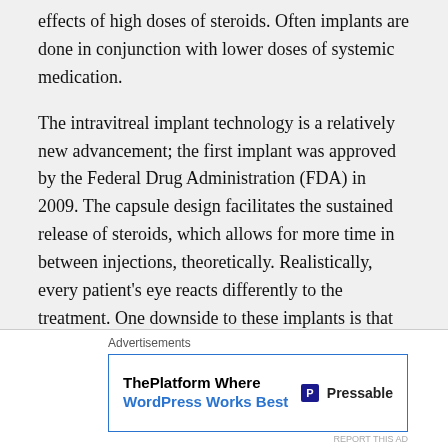effects of high doses of steroids. Often implants are done in conjunction with lower doses of systemic medication.
The intravitreal implant technology is a relatively new advancement; the first implant was approved by the Federal Drug Administration (FDA) in 2009. The capsule design facilitates the sustained release of steroids, which allows for more time in between injections, theoretically. Realistically, every patient's eye reacts differently to the treatment. One downside to these implants is that there is no manner of knowing when the implant has actually run its course and is no longer releasing medication.
Before intravitreal implants, corticosteroids were
[Figure (other): Advertisement banner: 'ThePlatform Where WordPress Works Best' by Pressable, with close button (X) and 'Advertisements' label]